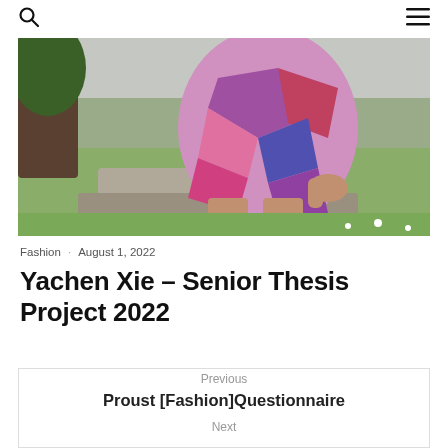🔍  ☰
[Figure (photo): A person wearing a colorful pink, purple, red and blue patterned dress/outfit, leaning near stone steps outdoors with green grass in background. Photo is cropped showing torso and hands, no face visible.]
Fashion · August 1, 2022
Yachen Xie – Senior Thesis Project 2022
Previous
Proust [Fashion]Questionnaire
Next